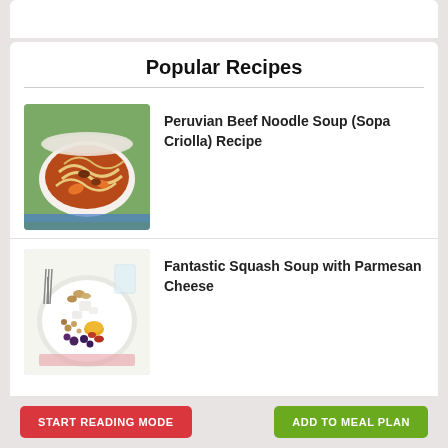Popular Recipes
[Figure (photo): Bowl of Peruvian Beef Noodle Soup (Sopa Criolla) with noodles, vegetables and meat on a green and blue background]
Peruvian Beef Noodle Soup (Sopa Criolla) Recipe
[Figure (photo): White plate with assorted ingredients including nuts, cheese, berries, dried fruits and a small bowl of honey on a white surface]
Fantastic Squash Soup with Parmesan Cheese
START READING MODE
ADD TO MEAL PLAN